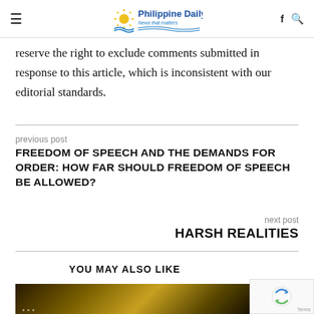Philippine Daily Mirror — News that matters
reserve the right to exclude comments submitted in response to this article, which is inconsistent with our editorial standards.
previous post
FREEDOM OF SPEECH AND THE DEMANDS FOR ORDER: HOW FAR SHOULD FREEDOM OF SPEECH BE ALLOWED?
next post
HARSH REALITIES
YOU MAY ALSO LIKE
[Figure (photo): Dark golden/brown toned image strip, likely a concert hall or event venue with lights]